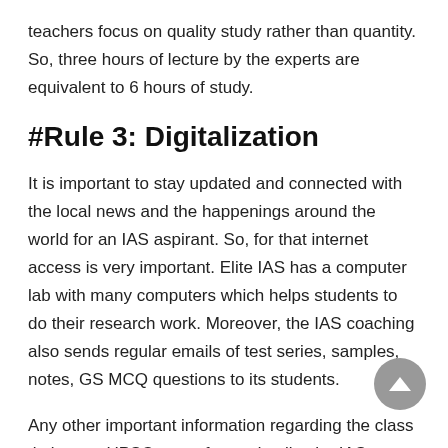teachers focus on quality study rather than quantity. So, three hours of lecture by the experts are equivalent to 6 hours of study.
#Rule 3: Digitalization
It is important to stay updated and connected with the local news and the happenings around the world for an IAS aspirant. So, for that internet access is very important. Elite IAS has a computer lab with many computers which helps students to do their research work. Moreover, the IAS coaching also sends regular emails of test series, samples, notes, GS MCQ questions to its students.
Any other important information regarding the class timings or UPSC exam forms details, the IAS coaching either emails or sends SMS to each of its students.
also the class timings are available in the class schedule